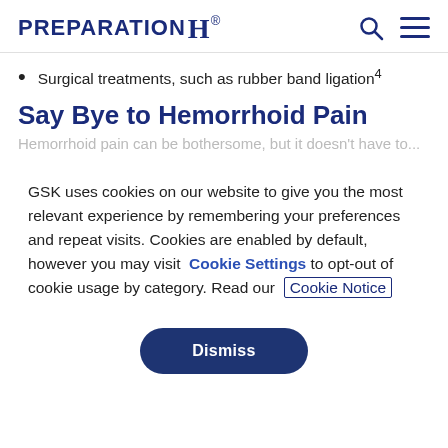PREPARATION H
Surgical treatments, such as rubber band ligation⁴
Say Bye to Hemorrhoid Pain
Hemorrhoid pain can be bothersome, but it doesn't have to...
GSK uses cookies on our website to give you the most relevant experience by remembering your preferences and repeat visits. Cookies are enabled by default, however you may visit Cookie Settings to opt-out of cookie usage by category. Read our Cookie Notice
Dismiss